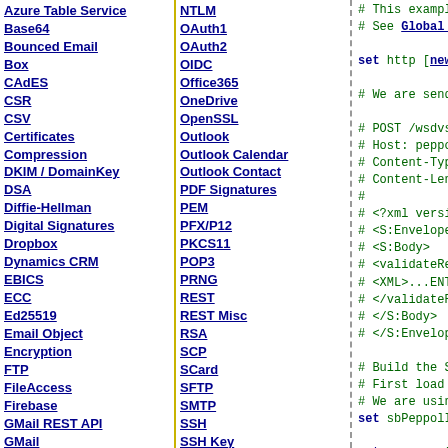Azure Table Service
Base64
Bounced Email
Box
CAdES
CSR
CSV
Certificates
Compression
DKIM / DomainKey
DSA
Diffie-Hellman
Digital Signatures
Dropbox
Dynamics CRM
EBICS
ECC
Ed25519
Email Object
Encryption
FTP
FileAccess
Firebase
GMail REST API
GMail
SMTP/IMAP/POP
Geolocation
Google APIs
Google Calendar
Google Cloud SQL
Google Cloud Storage
Google Drive
Google Photos
NTLM
OAuth1
OAuth2
OIDC
Office365
OneDrive
OpenSSL
Outlook
Outlook Calendar
Outlook Contact
PDF Signatures
PEM
PFX/P12
PKCS11
POP3
PRNG
REST
REST Misc
RSA
SCP
SCard
SFTP
SMTP
SSH
SSH Key
SSH Tunnel
ScMinidriver
SharePoint
Socket/SSL/TLS
Spider
Stream
Tar Archive
Upload
# This exampl
# See Global U
set http [new
# We are send
# POST /wsdvs
# Host: peppo
# Content-Typ
# Content-Len
#
# <?xml versi
# <S:Envelope
# <S:Body>
# <validateRe
# <XML>...ENT
# </validateR
# </S:Body>
# </S:Envelop
# Build the S
# First load
# We are usin
set sbPeppolI
set success [
set xml [new